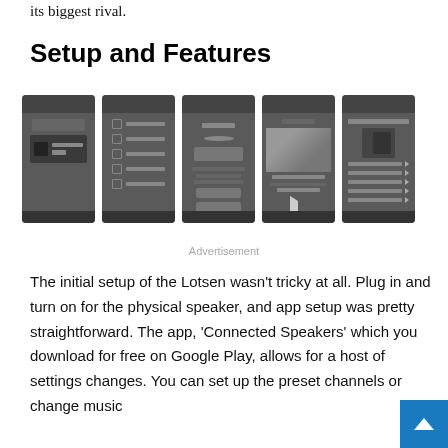its biggest rival.
Setup and Features
[Figure (screenshot): Five smartphone app screenshots showing the Lotsen/Connected Speakers app interface: device setup screen, menu/settings list, speaker setup flow, music playback screen with artist photo, and speaker settings/options screen.]
Advertisement
The initial setup of the Lotsen wasn’t tricky at all. Plug in and turn on for the physical speaker, and app setup was pretty straightforward. The app, ‘Connected Speakers’ which you download for free on Google Play, allows for a host of settings changes. You can set up the preset channels or change music